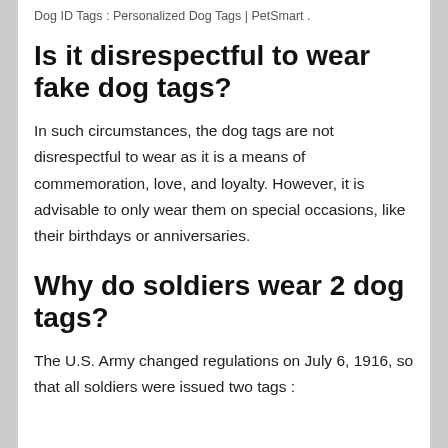Dog ID Tags : Personalized Dog Tags | PetSmart .
Is it disrespectful to wear fake dog tags?
In such circumstances, the dog tags are not disrespectful to wear as it is a means of commemoration, love, and loyalty. However, it is advisable to only wear them on special occasions, like their birthdays or anniversaries.
Why do soldiers wear 2 dog tags?
The U.S. Army changed regulations on July 6, 1916, so that all soldiers were issued two tags :